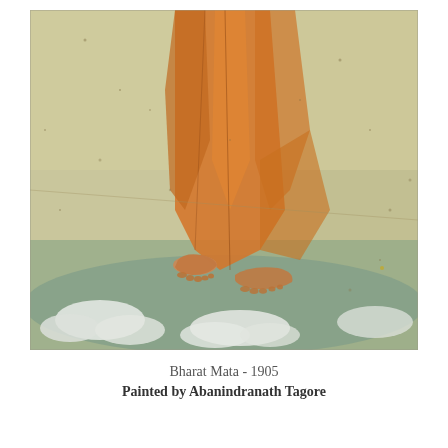[Figure (illustration): A detail of the painting 'Bharat Mata' (1905) by Abanindranath Tagore showing the lower portion of a figure in orange/saffron robes standing on clouds or water, with bare feet visible. The background is a muted greenish-yellow wash with speckles, in a watercolor style on aged paper.]
Bharat Mata - 1905
Painted by Abanindranath Tagore